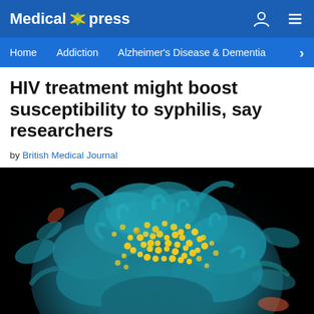Medical Xpress
Home  Addiction  Alzheimer's Disease & Dementia
HIV treatment might boost susceptibility to syphilis, say researchers
by British Medical Journal
[Figure (photo): Colorized scanning electron microscope image of HIV-infected cell. The cell appears blue-green with yellow HIV particles (virions) budding from the cell surface, against a black background.]